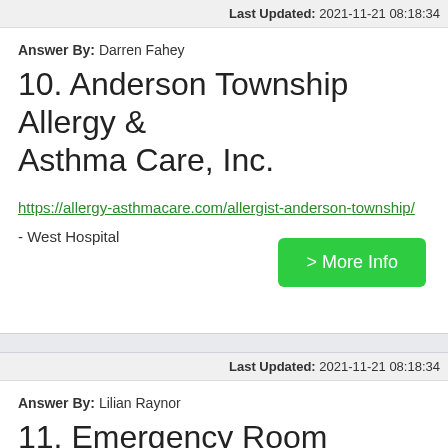Last Updated: 2021-11-21 08:18:34
Answer By: Darren Fahey
10. Anderson Township Allergy & Asthma Care, Inc.
https://allergy-asthmacare.com/allergist-anderson-township/
- West Hospital
> More Info
Last Updated: 2021-11-21 08:18:34
Answer By: Lilian Raynor
11. Emergency Room Locations in Cincinnati, Ohio Mercy Health